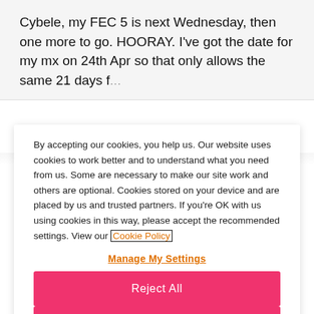Cybele, my FEC 5 is next Wednesday, then one more to go. HOORAY. I've got the date for my mx on 24th Apr so that only allows the same 21 days f...
By accepting our cookies, you help us. Our website uses cookies to work better and to understand what you need from us. Some are necessary to make our site work and others are optional. Cookies stored on your device and are placed by us and trusted partners. If you're OK with us using cookies in this way, please accept the recommended settings. View our Cookie Policy
Manage My Settings
Reject All
Accept All Cookies